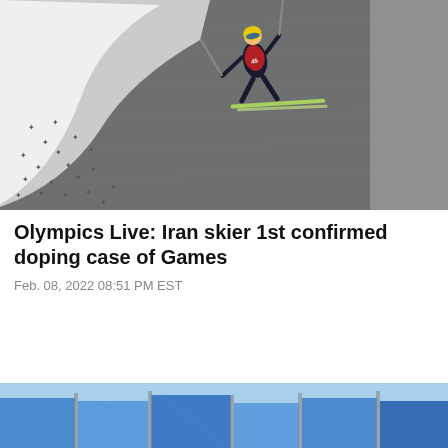[Figure (photo): Aerial view of a ski jumper in mid-air wearing a red vest with number 45, yellow helmet, blue goggles, and black ski suit, holding poles, with skis extended. The background shows a grey ski jump ramp surface with a curved white landing slope. Small bird-like figures (footprints or birds) are visible on the snow in the lower left.]
Olympics Live: Iran skier 1st confirmed doping case of Games
Feb. 08, 2022 08:51 PM EST
[Figure (photo): Partial view of a blue windscreen or fence barrier at what appears to be an outdoor winter sports venue, with blue sky or panels visible in the upper portion of the image.]